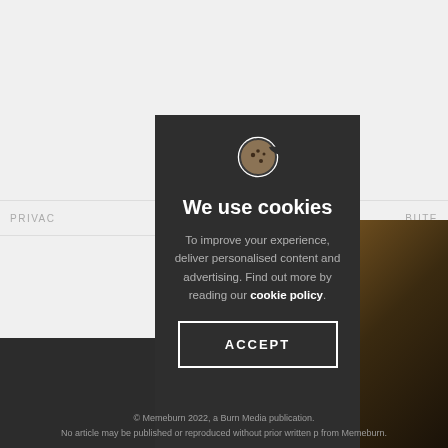[Figure (screenshot): Website background showing navigation bar fragments with 'PRIVAC' and 'BUTE' text visible, grey background, and a dark right-side image panel]
We use cookies
To improve your experience, deliver personalised content and advertising. Find out more by reading our cookie policy.
ACCEPT
© Memeburn 2022, a Burn Media publication. No article may be published or reproduced without prior written p from Memeburn.